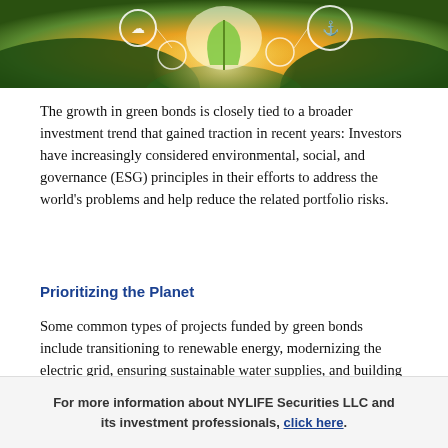[Figure (photo): Decorative banner photo showing a green seedling or plant held in cupped hands against a warm glowing background, with white circular icons overlaid suggesting sustainability and ESG themes.]
The growth in green bonds is closely tied to a broader investment trend that gained traction in recent years: Investors have increasingly considered environmental, social, and governance (ESG) principles in their efforts to address the world’s problems and help reduce the related portfolio risks.
Prioritizing the Planet
Some common types of projects funded by green bonds include transitioning to renewable energy, modernizing the electric grid, ensuring sustainable water supplies, and building clean transportation
For more information about NYLIFE Securities LLC and its investment professionals, click here.